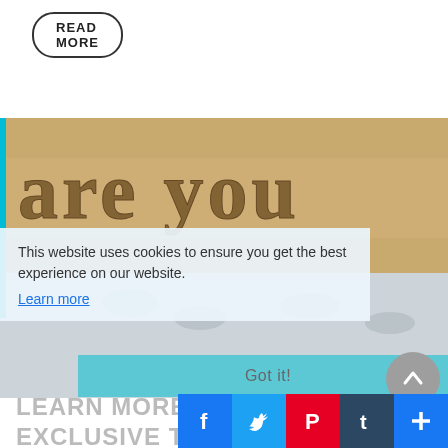[Figure (other): READ MORE button with rounded rectangle border]
[Figure (photo): Beach sand photo with text 'are you' written in sand, with footprints visible]
This website uses cookies to ensure you get the best experience on our website.
Learn more
[Figure (other): Got it button (teal/cyan colored)]
[Figure (other): Scroll up circular button]
LEARN MORE ABOUT CHTA'S EXCLUSIVE TRAVEL IN
[Figure (other): Social media icon bar with Facebook, Twitter, Pinterest, Tumblr, and plus buttons]